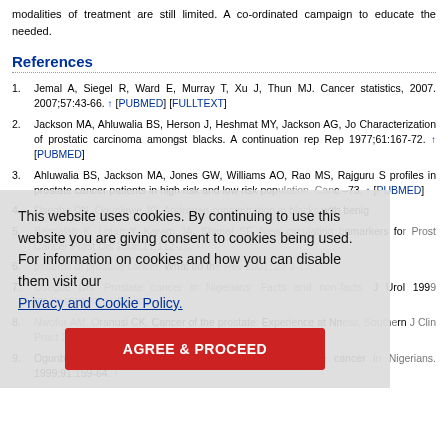modalities of treatment are still limited. A co-ordinated campaign to educate the needed.
References
1. Jemal A, Siegel R, Ward E, Murray T, Xu J, Thun MJ. Cancer statistics, 2007. 2007;57:43-66. ↑ [PUBMED] [FULLTEXT]
2. Jackson MA, Ahluwalia BS, Herson J, Heshmat MY, Jackson AG, Jo Characterization of prostatic carcinoma amongst blacks. A continuation rep Rep 1977;61:167-72. ↑ [PUBMED]
3. Ahluwalia BS, Jackson MA, Jones GW, Williams AO, Rao MS, Rajguru S profiles in prostate cancer patients in high risk and low risk population. Can –73. ↑ [PUBMED]
4. Osegbe DN, Ogunlewe JO. Androgen concentration in blacks with benig
5. Bensalah K, Lotan Y, Karam JA, Shariat SF. New circulating biomarkers fo Prost Cancer Prost Dis 2008;11:112-20. ↑
6. patterns of prostate cancer. What do th Rev 2001; 23:3-13. ↑
7. Osegbe DN. Prostate cancer in Nigerians: Facts and non-facts. J Urol 199 [PUBMED] [FULLTEXT]
8. Nwofor AM, Oranusi CK. Cancer of the prostate: Experience at Nnewi, Southe J Clin Pract 2004;7:65-8. ↑
9. Ogunbiyi JO, Shittu OB. Increased incidence of prostate cancer in Nigerians. 1999;91:159-64. ↑
This website uses cookies. By continuing to use this website you are giving consent to cookies being used. For information on cookies and how you can disable them visit our Privacy and Cookie Policy. AGREE & PROCEED